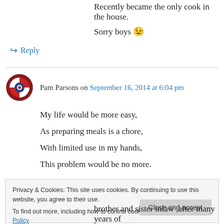Recently became the only cook in the house. Sorry boys 😉
↪ Reply
Pam Parsons on September 16, 2014 at 6:04 pm
My life would be more easy,
As preparing meals is a chore,
With limited use in my hands,
This problem would be no more.
Privacy & Cookies: This site uses cookies. By continuing to use this website, you agree to their use.
To find out more, including how to control cookies, see here: Cookie Policy
Close and accept
brother and sister inlaw ,after many years of